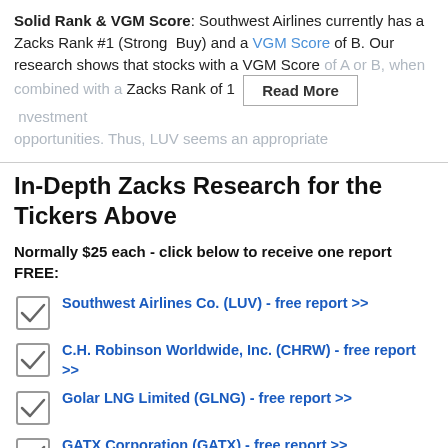Solid Rank & VGM Score: Southwest Airlines currently has a Zacks Rank #1 (Strong Buy) and a VGM Score of B. Our research shows that stocks with a VGM Score of A or B, when combined with a Zacks Rank of 1 [Read More] investment opportunities. Thus, LUV seems an appropriate
In-Depth Zacks Research for the Tickers Above
Normally $25 each - click below to receive one report FREE:
Southwest Airlines Co. (LUV) - free report >>
C.H. Robinson Worldwide, Inc. (CHRW) - free report >>
Golar LNG Limited (GLNG) - free report >>
GATX Corporation (GATX) - free report >>